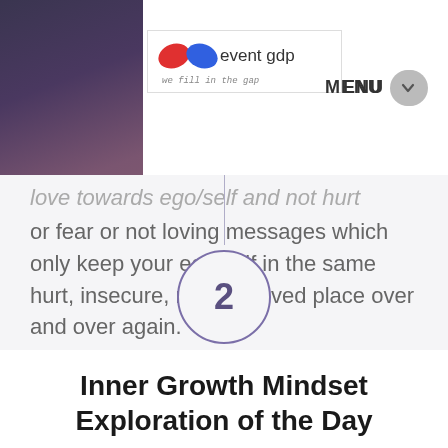[Figure (logo): Event Gap logo with red and blue teardrop shapes and text 'event gap, we fill in the gap']
MENU
love towards ego/self and not hurt or fear or not loving messages which only keep your ego/self in the same hurt, insecure, not self-loved place over and over again.
2
Inner Growth Mindset Exploration of the Day